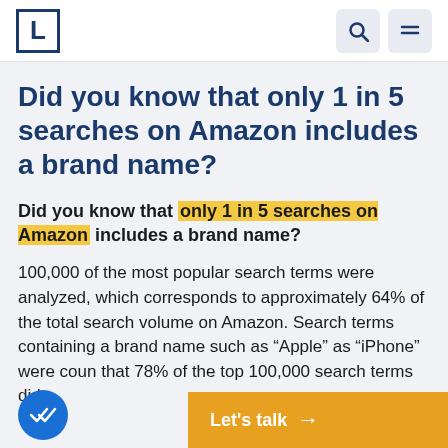L [logo] | [search icon] [menu icon]
Did you know that only 1 in 5 searches on Amazon includes a brand name?
Did you know that only 1 in 5 searches on Amazon includes a brand name?
100,000 of the most popular search terms were analyzed, which corresponds to approximately 64% of the total search volume on Amazon. Search terms containing a brand name such as “Apple” as “iPhone” were coun... that 78% of the top 100,000 search terms did